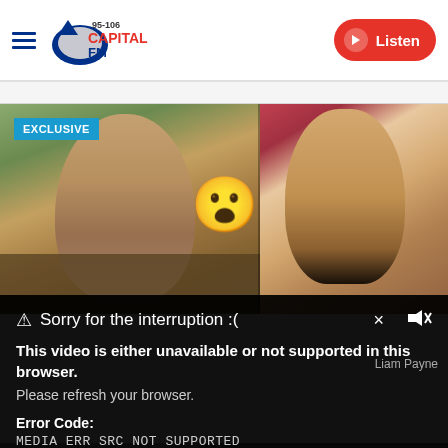[Figure (screenshot): Website header for Capital FM (95-106) with hamburger menu icon, Capital FM logo, and red Listen button with play icon]
[Figure (photo): TV show still image split in two: left shows a young man looking up with greenery background, right shows a young woman with long dark hair. A shocked/surprised emoji overlaid in the center. EXCLUSIVE badge in top-left corner.]
EXCLUSIVE
Sorry for the interruption :(
This video is either unavailable or not supported in this browser. Please refresh your browser.
Error Code: MEDIA ERR SRC NOT SUPPORTED